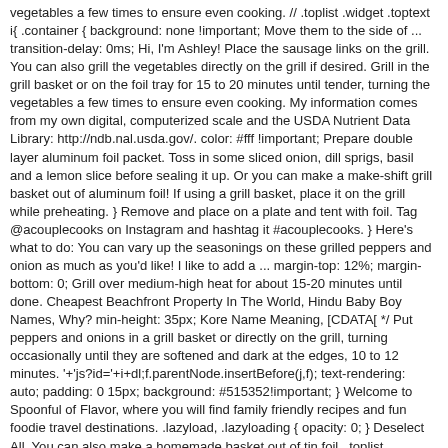vegetables a few times to ensure even cooking. // .toplist .widget .toptext i{ .container { background: none !important; Move them to the side of ... transition-delay: 0ms; Hi, I'm Ashley! Place the sausage links on the grill. You can also grill the vegetables directly on the grill if desired. Grill in the grill basket or on the foil tray for 15 to 20 minutes until tender, turning the vegetables a few times to ensure even cooking. My information comes from my own digital, computerized scale and the USDA Nutrient Data Library: http://ndb.nal.usda.gov/. color: #fff !important; Prepare double layer aluminum foil packet. Toss in some sliced onion, dill sprigs, basil and a lemon slice before sealing it up. Or you can make a make-shift grill basket out of aluminum foil! If using a grill basket, place it on the grill while preheating. } Remove and place on a plate and tent with foil. Tag @acouplecooks on Instagram and hashtag it #acouplecooks. } Here's what to do: You can vary up the seasonings on these grilled peppers and onion as much as you'd like! I like to add a ... margin-top: 12%; margin-bottom: 0; Grill over medium-high heat for about 15-20 minutes until done. Cheapest Beachfront Property In The World, Hindu Baby Boy Names, Why? min-height: 35px; Kore Name Meaning, [CDATA[ */ Put peppers and onions in a grill basket or directly on the grill, turning occasionally until they are softened and dark at the edges, 10 to 12 minutes. '+'js?id='+i+dl;f.parentNode.insertBefore(j,f); text-rendering: auto; padding: 0 15px; background: #515352!important; } Welcome to Spoonful of Flavor, where you will find family friendly recipes and fun foodie travel destinations. .lazyload, .lazyloading { opacity: 0; } Deselect All. You can also make a homemade basket out of tin foil. .toplist .widget:after{ subscribe to get new recipes delivered via email; This easy side dish requires less than